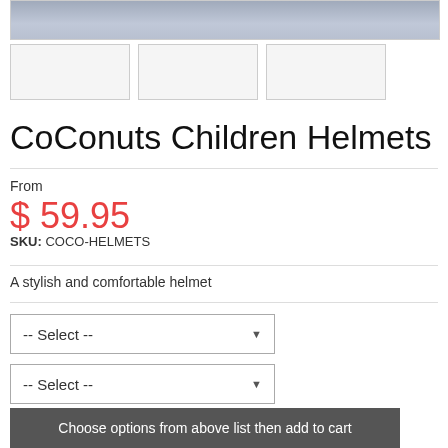[Figure (photo): Top portion of a product photo showing a child wearing a denim jacket, partially cropped]
[Figure (photo): Three small thumbnail images of the product, shown as empty white boxes]
CoConuts Children Helmets
From
$ 59.95
SKU: COCO-HELMETS
A stylish and comfortable helmet
-- Select --
-- Select --
Choose options from above list then add to cart